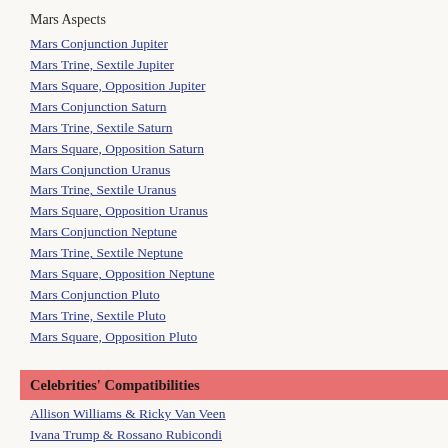Mars Aspects
Mars Conjunction Jupiter
Mars Trine, Sextile Jupiter
Mars Square, Opposition Jupiter
Mars Conjunction Saturn
Mars Trine, Sextile Saturn
Mars Square, Opposition Saturn
Mars Conjunction Uranus
Mars Trine, Sextile Uranus
Mars Square, Opposition Uranus
Mars Conjunction Neptune
Mars Trine, Sextile Neptune
Mars Square, Opposition Neptune
Mars Conjunction Pluto
Mars Trine, Sextile Pluto
Mars Square, Opposition Pluto
Celebrities' Compatibilities
Allison Williams & Ricky Van Veen
Ivana Trump & Rossano Rubicondi
Camila Cabello & Matthew Hussey
Porsha Williams & Dennis McKinley
Rachael Leigh Cook & Daniel Gillies
Malika Haqq & O.T. Genasis